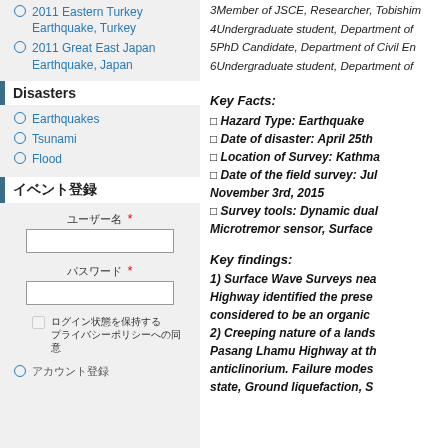2011 Eastern Turkey Earthquake, Turkey
2011 Great East Japan Earthquake, Japan
Disasters
Earthquakes
Tsunami
Flood
イベント登録
3Member of JSCE, Researcher, Tobishim
4Undergraduate student, Department of
5PhD Candidate, Department of Civil En
6Undergraduate student, Department of
Key Facts:
□ Hazard Type: Earthquake
□ Date of disaster: April 25th
□ Location of Survey: Kathma
□ Date of the field survey: Jul
November 3rd, 2015
□ Survey tools: Dynamic dual
Microtremor sensor, Surface
Key findings:
1) Surface Wave Surveys nea
Highway identified the prese
considered to be an organic
2) Creeping nature of a lands
Pasang Lhamu Highway at th
anticlinorium. Failure modes
state, Ground liquefaction, S